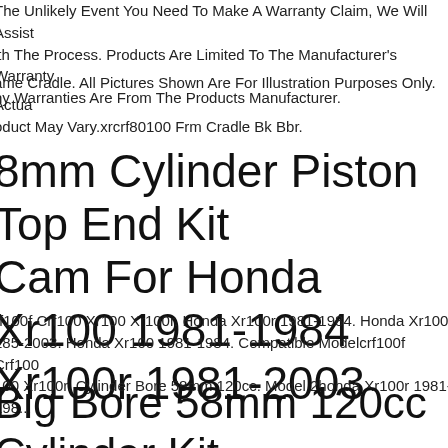The Unlikely Event You Need To Make A Warranty Claim, We Will Assist With The Process. Products Are Limited To The Manufacturer's Warranty. Any Warranties Are From The Products Manufacturer.
Frame Cradle. All Pictures Shown Are For Illustration Purposes Only. Actual Product May Vary.xrcrf80100 Frm Cradle Bk Bbr.
58mm Cylinder Piston Top End Kit Cam For Honda Xr100 1981-1984 Xr100r 1981-2003
crf100f Crf100 Xr100 Xr100r. Honda Xr100r 1981-1984. Honda Xr100r 1985-2003. Honda Xr100 1981-1984. Compatible Modelcrf100f Crf100 Xr100 Xr100r. Cylinder Bore 58mm 120cc. Model 2honda Xr100r 1981-1984
Big Bore 58mm 120cc Cylinder Kit Camshaft For Honda Xr100 Xr100r